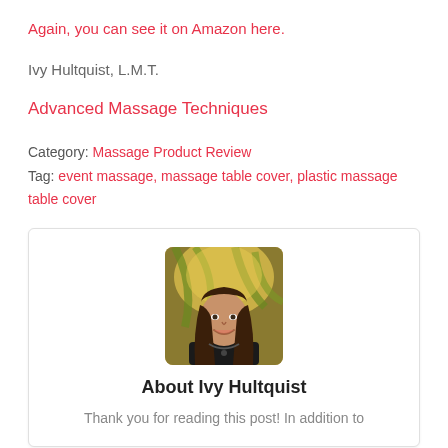Again, you can see it on Amazon here.
Ivy Hultquist, L.M.T.
Advanced Massage Techniques
Category: Massage Product Review
Tag: event massage, massage table cover, plastic massage table cover
[Figure (photo): Portrait photo of Ivy Hultquist, a woman with long brown hair smiling, outdoors with tropical foliage in the background.]
About Ivy Hultquist
Thank you for reading this post! In addition to